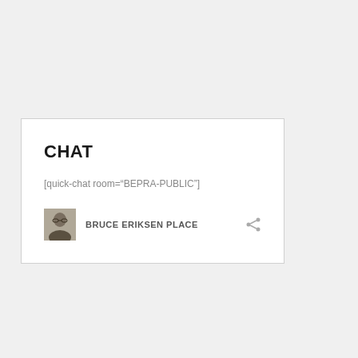CHAT
[quick-chat room="BEPRA-PUBLIC"]
BRUCE ERIKSEN PLACE